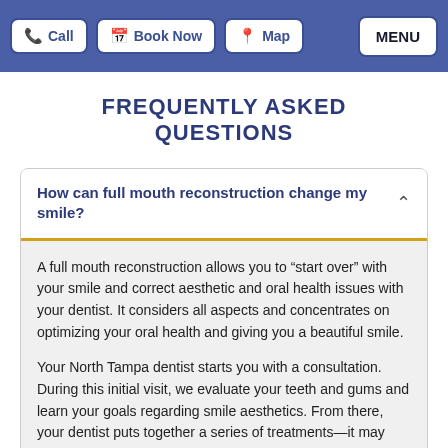Call | Book Now | Map | MENU
FREQUENTLY ASKED QUESTIONS
How can full mouth reconstruction change my smile?
A full mouth reconstruction allows you to “start over” with your smile and correct aesthetic and oral health issues with your dentist. It considers all aspects and concentrates on optimizing your oral health and giving you a beautiful smile.
Your North Tampa dentist starts you with a consultation. During this initial visit, we evaluate your teeth and gums and learn your goals regarding smile aesthetics. From there, your dentist puts together a series of treatments—it may include two treatments or